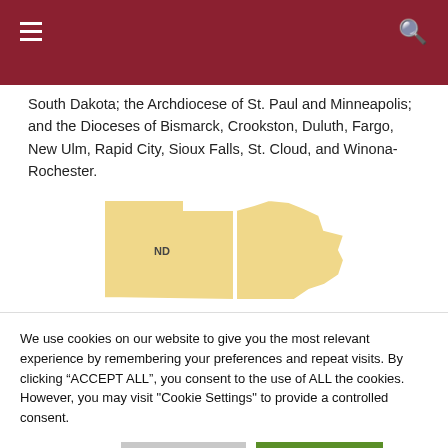South Dakota; the Archdiocese of St. Paul and Minneapolis; and the Dioceses of Bismarck, Crookston, Duluth, Fargo, New Ulm, Rapid City, Sioux Falls, St. Cloud, and Winona-Rochester.
[Figure (map): A map showing the states of North Dakota (labeled ND) and Minnesota highlighted in golden/tan color, representing a regional diocese coverage area.]
We use cookies on our website to give you the most relevant experience by remembering your preferences and repeat visits. By clicking “ACCEPT ALL”, you consent to the use of ALL the cookies. However, you may visit "Cookie Settings" to provide a controlled consent.